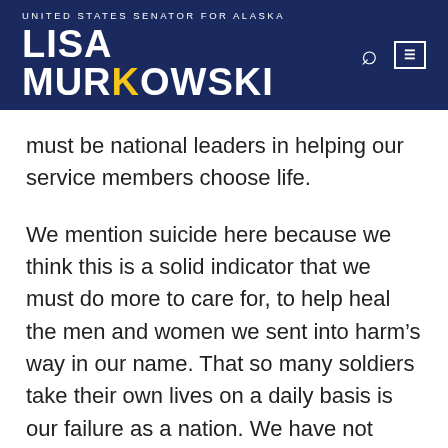UNITED STATES SENATOR FOR ALASKA LISA MURKOWSKI
must be national leaders in helping our service members choose life.
We mention suicide here because we think this is a solid indicator that we must do more to care for, to help heal the men and women we sent into harm’s way in our name. That so many soldiers take their own lives on a daily basis is our failure as a nation. We have not supported our troops.
The investigation Murkowski called for is currently